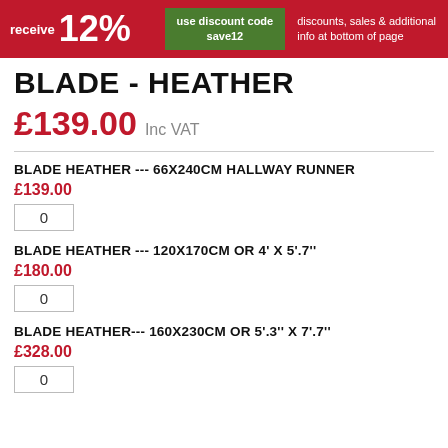[Figure (infographic): Red banner advertisement showing 'receive 12%' with green discount code box 'use discount code save12' and text 'discounts, sales & additional info at bottom of page']
BLADE - HEATHER
£139.00 Inc VAT
BLADE HEATHER --- 66X240CM HALLWAY RUNNER
£139.00
0
BLADE HEATHER --- 120X170CM OR 4' X 5'.7''
£180.00
0
BLADE HEATHER--- 160X230CM OR 5'.3'' X 7'.7''
£328.00